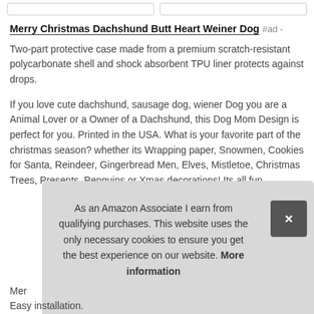Merry Christmas Dachshund Butt Heart Weiner Dog #ad -
Two-part protective case made from a premium scratch-resistant polycarbonate shell and shock absorbent TPU liner protects against drops.
If you love cute dachshund, sausage dog, wiener Dog you are a Animal Lover or a Owner of a Dachshund, this Dog Mom Design is perfect for you. Printed in the USA. What is your favorite part of the christmas season? whether its Wrapping paper, Snowmen, Cookies for Santa, Reindeer, Gingerbread Men, Elves, Mistletoe, Christmas Trees, Presents, Penguins or Xmas decorations! Its all fun.
As an Amazon Associate I earn from qualifying purchases. This website uses the only necessary cookies to ensure you get the best experience on our website. More information
Mer
Easy installation.